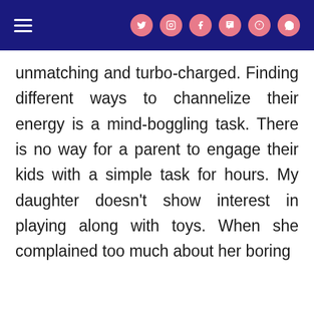Navigation header with hamburger menu and social media icons
unmatching and turbo-charged. Finding different ways to channelize their energy is a mind-boggling task. There is no way for a parent to engage their kids with a simple task for hours. My daughter doesn't show interest in playing along with toys. When she complained too much about her boring